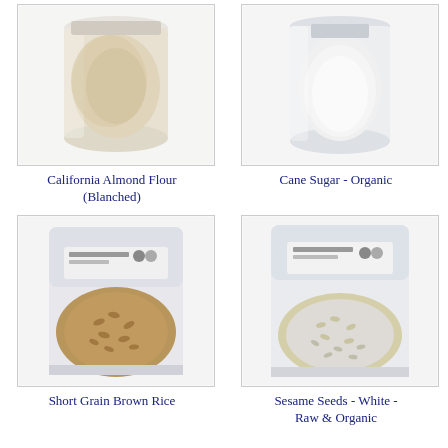[Figure (photo): Product photo: bag of California Almond Flour (Blanched) - a beige/cream colored flour visible through the packaging]
California Almond Flour (Blanched)
[Figure (photo): Product photo: bag of Cane Sugar - Organic - white granular sugar visible through the packaging]
Cane Sugar - Organic
[Figure (photo): Product photo: bag of Short Grain Brown Rice - brown rice grains visible through the packaging]
Short Grain Brown Rice
[Figure (photo): Product photo: bag of Sesame Seeds - White - Raw & Organic - white sesame seeds visible through the packaging]
Sesame Seeds - White - Raw & Organic